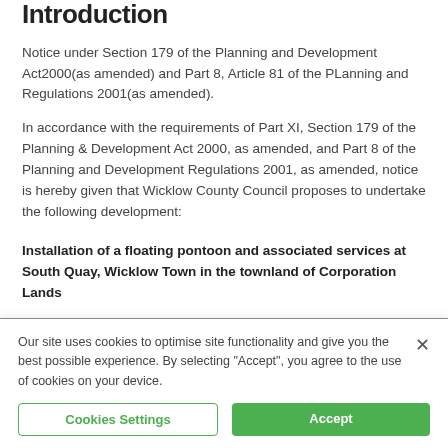Introduction
Notice under Section 179 of the Planning and Development Act2000(as amended) and Part 8, Article 81 of the PLanning and Regulations 2001(as amended).
In accordance with the requirements of Part XI, Section 179 of the Planning & Development Act 2000, as amended, and Part 8 of the Planning and Development Regulations 2001, as amended, notice is hereby given that Wicklow County Council proposes to undertake the following development:
Installation of a floating pontoon and associated services at South Quay, Wicklow Town in the townland of Corporation Lands
Our site uses cookies to optimise site functionality and give you the best possible experience. By selecting "Accept", you agree to the use of cookies on your device.